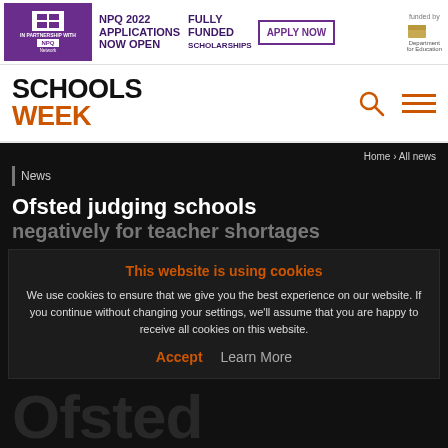[Figure (screenshot): Harris Leadership College NPQ 2022 banner ad: purple logo box, 'NPQ 2022 APPLICATIONS NOW OPEN', 'FULLY FUNDED SCHOLARSHIPS', 'APPLY NOW' button, 'funded by Department for Education' logo]
SCHOOLS WEEK
Home › All news
News
Ofsted judging schools negatively for teacher shortages
This website is using cookies
We use cookies to ensure that we give you the best experience on our website. If you continue without changing your settings, we'll assume that you are happy to receive all cookies on this website.
Accept    Learn More
Ofsted